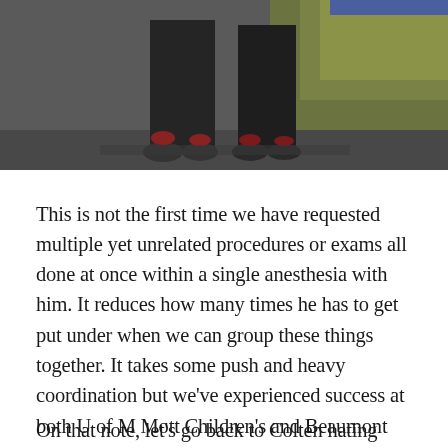[Figure (photo): Photo showing lower body/legs of a person, cropped, with dark clothing and shoes on a gray surface. Background shows some foliage on the right side.]
This is not the first time we have requested multiple yet unrelated procedures or exams all done at once within a single anesthesia with him. It reduces how many times he has to get put under when we can group these things together. It takes some push and heavy coordination but we've experienced success at both U of M Mott Children's and Beaumont Royal Oak Children's. I highly recommend this when feasible for any child. You can dictate and coordinate your child's medical care if you push for it and have doctors that truly care about what's best for the child.
On that note, let's go back to Colten hating sedation. This kid has experienced it enough times that he knows he